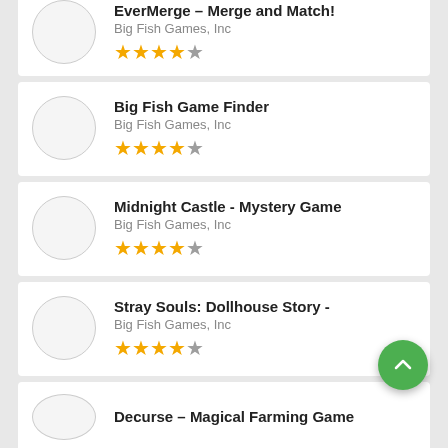EverMerge - Merge and Match! | Big Fish Games, Inc | 4.5 stars
Big Fish Game Finder | Big Fish Games, Inc | 4.5 stars
Midnight Castle - Mystery Game | Big Fish Games, Inc | 4.5 stars
Stray Souls: Dollhouse Story - | Big Fish Games, Inc | 4.5 stars
Decurse – Magical Farming Game